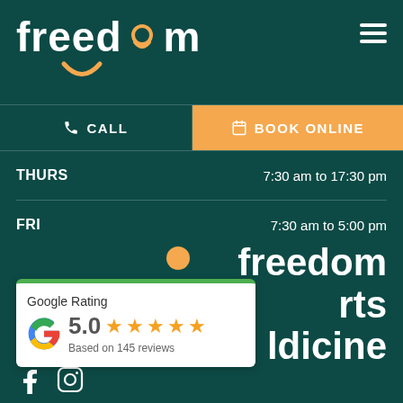[Figure (logo): Freedom logo: white bold text 'freedom' with orange smiley face icon below]
☰ (hamburger menu icon)
✆ CALL
BOOK ONLINE
| Day | Hours |
| --- | --- |
| THURS | 7:30 am to 17:30 pm |
| FRI | 7:30 am to 5:00 pm |
[Figure (logo): Freedom Sports Medicine logo large text at bottom right]
[Figure (infographic): Google Rating card showing 5.0 stars based on 145 reviews with Google G logo]
[Figure (logo): Facebook and Instagram social media icons at bottom left]